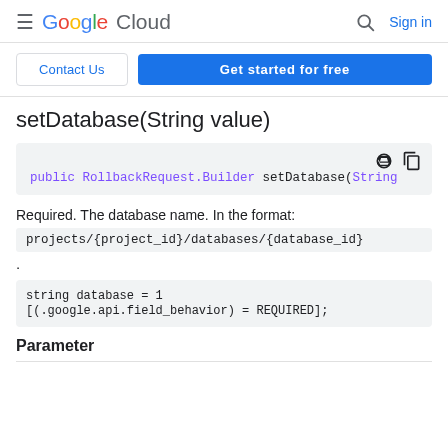Google Cloud  Sign in
Contact Us  Get started for free
setDatabase(String value)
[Figure (screenshot): Code block showing: public RollbackRequest.Builder setDatabase(String]
Required. The database name. In the format:
projects/{project_id}/databases/{database_id}
.
[Figure (screenshot): Proto code block showing: string database = 1 [(.google.api.field_behavior) = REQUIRED];]
Parameter